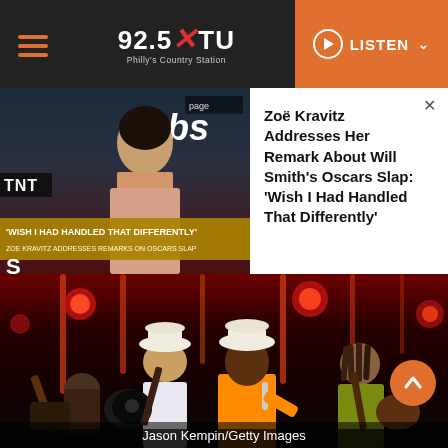92.5 XTU - Philly's Country Station | LISTEN
[Figure (screenshot): Video thumbnail showing Zoë Kravitz at awards show with TBS and TNT logos, banner reading 'WISH I HAD HANDLED THAT DIFFERENTLY' and 'ZOE KRAVITZ ADDRESSES REMARKS ON OSCARS SLAP']
Zoë Kravitz Addresses Her Remark About Will Smith's Oscars Slap: 'Wish I Had Handled That Differently'
[Figure (photo): Concert photo showing three musicians performing on stage with red lighting and vertical light bars. Caption: Jason Kempin/Getty Images]